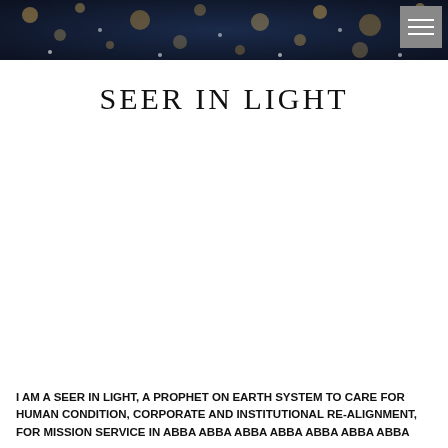[Figure (photo): Dark blue bokeh/sparkle background image spanning the top of the page with gold and white light orbs]
[Figure (other): Hamburger menu button (three horizontal white lines) on a grey square background, positioned top right]
SEER IN LIGHT
I AM A SEER IN LIGHT, A PROPHET ON EARTH SYSTEM TO CARE FOR HUMAN CONDITION, CORPORATE AND INSTITUTIONAL RE-ALIGNMENT, FOR MISSION SERVICE IN ABBA ABBA ABBA ABBA ABBA ABBA ABBA